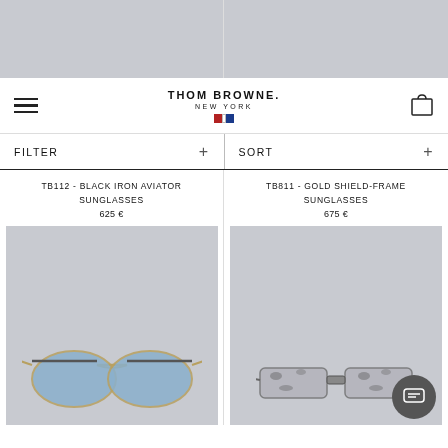[Figure (screenshot): Top partial product images, two grey placeholders side by side]
THOM BROWNE. NEW YORK
FILTER +
SORT +
TB112 - BLACK IRON AVIATOR SUNGLASSES
625 €
TB811 - GOLD SHIELD-FRAME SUNGLASSES
675 €
[Figure (photo): Grey placeholder product image with aviator sunglasses (blue lenses, gold frame) at bottom]
[Figure (photo): Grey placeholder product image with shield-frame sunglasses (grey tortoise pattern) at bottom with chat overlay button]